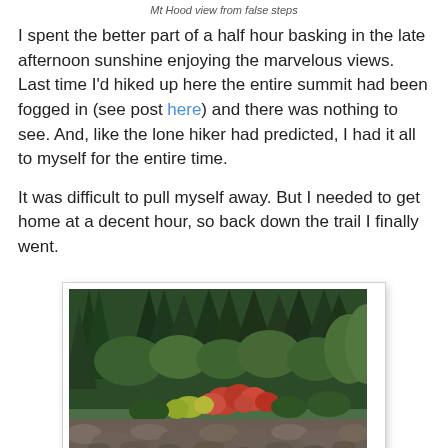Mt Hood view from false steps
I spent the better part of a half hour basking in the late afternoon sunshine enjoying the marvelous views.  Last time I'd hiked up here the entire summit had been fogged in (see post here) and there was nothing to see.  And, like the lone hiker had predicted, I had it all to myself for the entire time.
It was difficult to pull myself away.  But I needed to get home at a decent hour, so back down the trail I finally went.
[Figure (photo): Forest trail scene with evergreen trees and autumn-colored shrubs over a rocky boulder field, typical Pacific Northwest mountain trail scenery.]